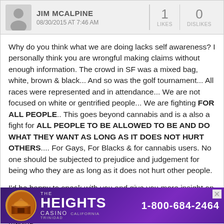JIM MCALPINE 08/30/2015 AT 7:46 AM — LIKES: 1, DISLIKES: 0
Why do you think what we are doing lacks self awareness? I personally think you are wrongful making claims without enough information. The crowd in SF was a mixed bag, white, brown & black... And so was the golf tournament... All races were represented and in attendance... We are not focused on white or gentrified people... We are fighting FOR ALL PEOPLE.. This goes beyond cannabis and is a also a fight for ALL PEOPLE TO BE ALLOWED TO BE AND DO WHAT THEY WANT AS LONG AS IT DOES NOT HURT OTHERS.... For Gays, For Blacks & for cannabis users. No one should be subjected to prejudice and judgement for being who they are as long as it does not hurt other people.

I'd be happy to speak with you and give you more insight on our missions, but until you actually have a conversation with me about why I'm doing this I think you are wrong to be making
[Figure (infographic): Advertisement banner for The Heights Casino, Trinidad California, phone 1-800-684-2464, purple gradient background with circular logo depicting a building at sunset]